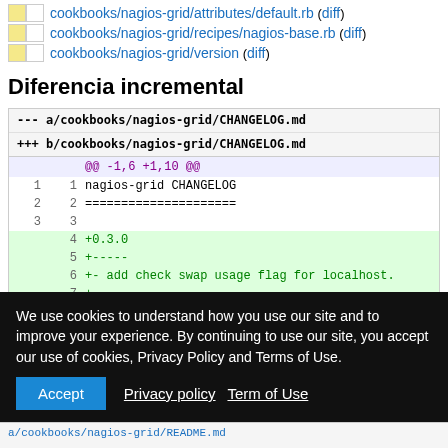cookbooks/nagios-grid/attributes/default.rb (diff)
cookbooks/nagios-grid/recipes/nagios-base.rb (diff)
cookbooks/nagios-grid/version (diff)
Diferencia incremental
| --- |  | a/cookbooks/nagios-grid/CHANGELOG.md |
| +++ |  | b/cookbooks/nagios-grid/CHANGELOG.md |
|  |  | @@ -1,6 +1,10 @@ |
| 1 | 1 | nagios-grid CHANGELOG |
| 2 | 2 | ===================== |
| 3 | 3 |  |
|  | 4 | +0.3.0 |
|  | 5 | +----- |
|  | 6 | +- add check swap usage flag for localhost. |
|  | 7 | + |
We use cookies to understand how you use our site and to improve your experience. By continuing to use our site, you accept our use of cookies, Privacy Policy and Terms of Use.
Accept   Privacy policy  Term of Use
a/cookbooks/nagios-grid/README.md